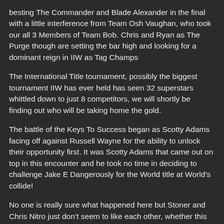besting The Commander and Blade Alexander in the final with a little interference from Team Osh Vaughan, who took our all 3 Members of Team Bob. Chris and Ryan as The Purge though are setting the bar high and looking for a dominant reign in IIW as Tag Champs
The International Title tournament, possibly the biggest tournament IIW has ever held has seen 32 superstars whittled down to just 8 competitors, we will shortly be finding out who will be taking home the gold.
The battle of the Keys To Success began as Scotty Adams facing off against Russell Wayne for the ability to unlock their opportunity first. It was Scotty Adams that came out on top in this encounter and he took no time in deciding to challenge Jake E Dangerously for the World title at World’s collide!
No one is really sure what happened here but Stoner and Chris Nitro just don’t seem to like each other, whether this started over a spilled frappachino or if their issues go much further than that, these two really seem to enjoy beating the crap out of each other at every opportunity given!
Finally the bombshell was dropped that IIW’s sister federation FCPW would be closing down, an agreement was struck between Osh Vaughan and President